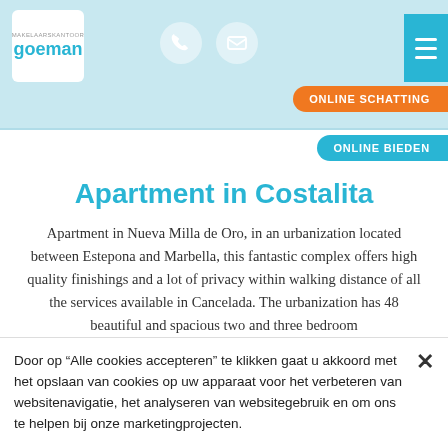[Figure (logo): Goeman real estate logo with white background, blue text reading 'goeman']
ONLINE SCHATTING | ONLINE BIEDEN
Apartment in Costalita
Apartment in Nueva Milla de Oro, in an urbanization located between Estepona and Marbella, this fantastic complex offers high quality finishings and a lot of privacy within walking distance of all the services available in Cancelada. The urbanization has 48 beautiful and spacious two and three bedroom
Door op “Alle cookies accepteren” te klikken gaat u akkoord met het opslaan van cookies op uw apparaat voor het verbeteren van websitenavigatie, het analyseren van websitegebruik en om ons te helpen bij onze marketingprojecten.